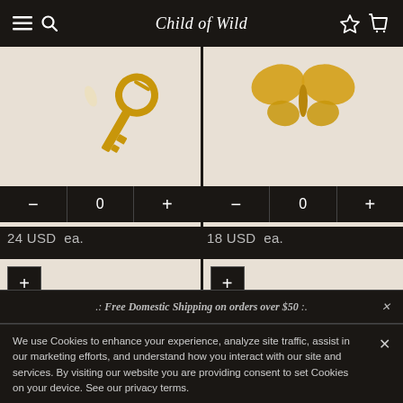Child of Wild
[Figure (photo): Gold key charm jewelry on light beige background, top left product]
[Figure (photo): Gold butterfly charm jewelry on light beige background, top right product]
24 USD  ea.
18 USD  ea.
[Figure (photo): Gold flower/star charm pendant jewelry on light beige background, bottom left product]
[Figure (photo): Silver bear charm pendant jewelry on light beige background, bottom right product]
.: Free Domestic Shipping on orders over $50 :.
We use Cookies to enhance your experience, analyze site traffic, assist in our marketing efforts, and understand how you interact with our site and services. By visiting our website you are providing consent to set Cookies on your device. See our privacy terms.